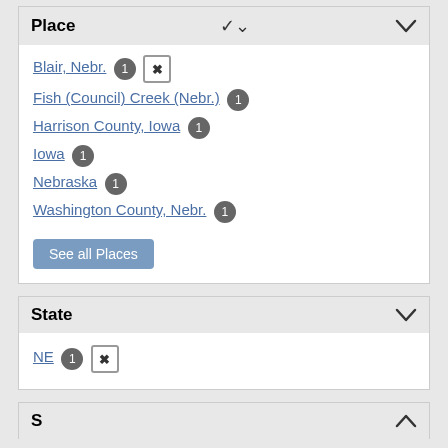Place
Blair, Nebr. 1 ×
Fish (Council) Creek (Nebr.) 1
Harrison County, Iowa 1
Iowa 1
Nebraska 1
Washington County, Nebr. 1
See all Places
State
NE 1 ×
S